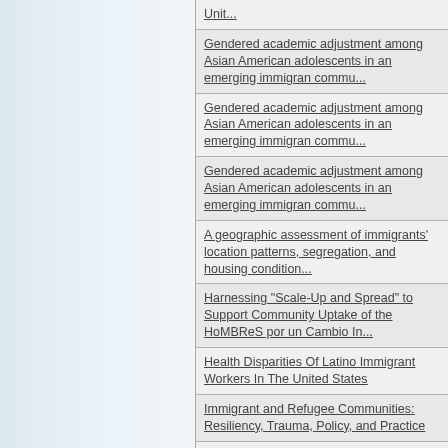Unit...
Gendered academic adjustment among Asian American adolescents in an emerging immigrant commu...
Gendered academic adjustment among Asian American adolescents in an emerging immigrant commu...
Gendered academic adjustment among Asian American adolescents in an emerging immigrant commu...
A geographic assessment of immigrants' location patterns, segregation, and housing condition...
Harnessing "Scale-Up and Spread" to Support Community Uptake of the HoMBReS por un Cambio In...
Health Disparities Of Latino Immigrant Workers In The United States
Immigrant and Refugee Communities: Resiliency, Trauma, Policy, and Practice
Immigrant Children Mediators (ICM): Bridging the Literacy Gap in Immigrant Communities
Immigrants and dynamics of spatial neighborhood change from 2000-2016: assessment from a les...
The impact of the international crisis on entrepreneurial intentions on refugees
Impact of trauma exposure and acculturative